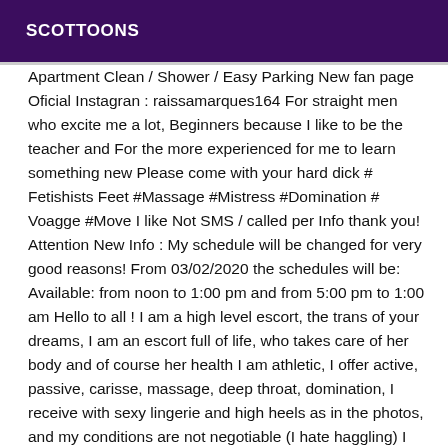SCOTTOONS
Apartment Clean / Shower / Easy Parking New fan page Oficial Instagran : raissamarques164 For straight men who excite me a lot, Beginners because I like to be the teacher and For the more experienced for me to learn something new Please come with your hard dick # Fetishists Feet #Massage #Mistress #Domination # Voagge #Move I like Not SMS / called per Info thank you! Attention New Info : My schedule will be changed for very good reasons! From 03/02/2020 the schedules will be: Available: from noon to 1:00 pm and from 5:00 pm to 1:00 am Hello to all ! I am a high level escort, the trans of your dreams, I am an escort full of life, who takes care of her body and of course her health I am athletic, I offer active, passive, carisse, massage, deep throat, domination, I receive with sexy lingerie and high heels as in the photos, and my conditions are not negotiable (I hate haggling) I attach great importance to